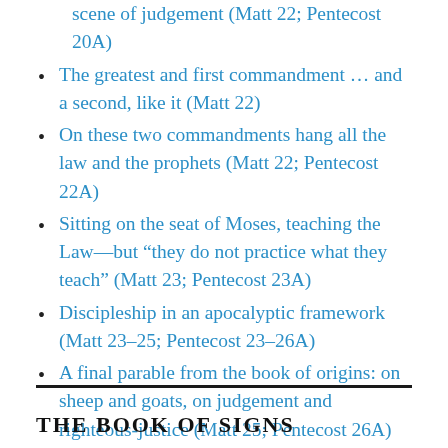scene of judgement (Matt 22; Pentecost 20A)
The greatest and first commandment … and a second, like it (Matt 22)
On these two commandments hang all the law and the prophets (Matt 22; Pentecost 22A)
Sitting on the seat of Moses, teaching the Law—but “they do not practice what they teach” (Matt 23; Pentecost 23A)
Discipleship in an apocalyptic framework (Matt 23–25; Pentecost 23–26A)
A final parable from the book of origins: on sheep and goats, on judgement and righteous-justice (Matt 25; Pentecost 26A)
THE BOOK OF SIGNS